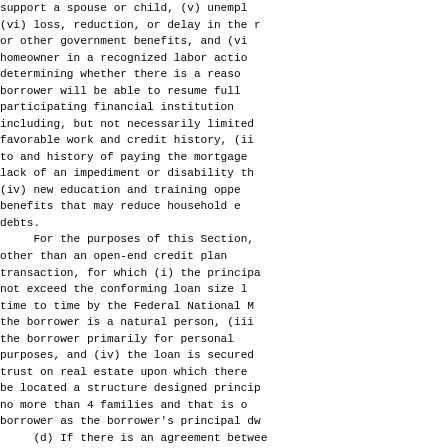support a spouse or child, (v) unempl o (vi) loss, reduction, or delay in the r or other government benefits, and (vi homeowner in a recognized labor actio determining whether there is a reaso borrower will be able to resume full participating financial institution  including, but not necessarily limite favorable work and credit history, (i to and history of paying the mortgage lack of an impediment or disability t (iv) new education and training opp benefits that may reduce household e debts.     For the purposes of this Section,  other than an open-end credit plan transaction, for which (i) the princip not exceed the conforming loan size l time to time by the Federal National M the borrower is a natural person, (iii the borrower primarily for personal purposes, and (iv) the loan is secured trust on real estate upon which there  be located a structure designed princip no more than 4 families and that is o borrower as the borrower's principal dw     (d) If there is an agreement betwee an eligible institution that details th the agreement may not require the g services to a third party; this provis